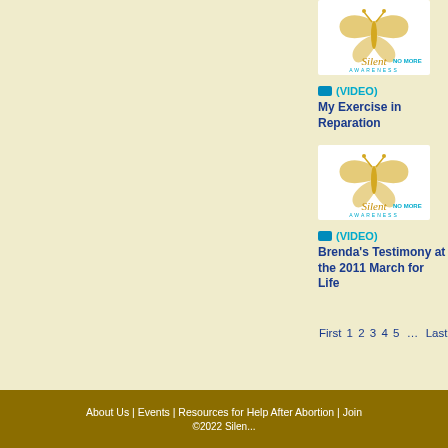[Figure (logo): Silent No More Awareness logo with butterfly and gold ribbon, first instance]
(VIDEO) My Exercise in Reparation
[Figure (logo): Silent No More Awareness logo with butterfly and gold ribbon, second instance]
(VIDEO) Brenda's Testimony at the 2011 March for Life
First 1 2 3 4 5 ... Last
About Us | Events | Resources for Help After Abortion | Join ©2022 Silen...